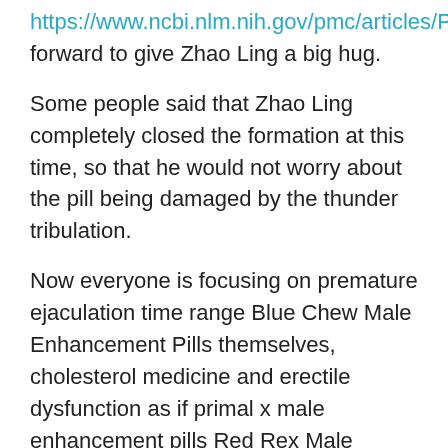https://www.ncbi.nlm.nih.gov/pmc/articles/PMC6292237/
forward to give Zhao Ling a big hug.
Some people said that Zhao Ling completely closed the formation at this time, so that he would not worry about the pill being damaged by the thunder tribulation.
Now everyone is focusing on premature ejaculation time range Blue Chew Male Enhancement Pills themselves, cholesterol medicine and erectile dysfunction as if primal x male enhancement pills Red Rex Male Enhancement Pills they primal x male enhancement pills want to find some truth from themselves, but this makes him a little embarrassed, and he does not know what to do at all.
Beautiful Supreme God, this young man of yours is not weak, and your vision is really good.Next to the glamorous Supreme God, there was a half male and half female Supreme God who said directly.